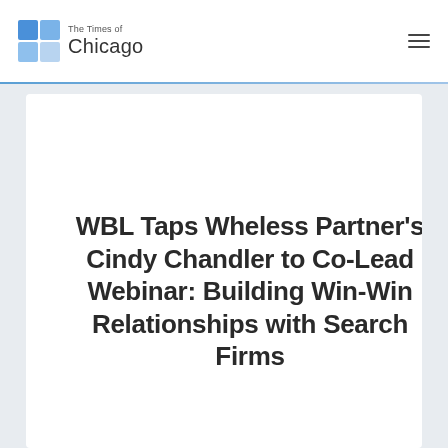The Times of Chicago
WBL Taps Wheless Partner's Cindy Chandler to Co-Lead Webinar: Building Win-Win Relationships with Search Firms
[Figure (logo): Wheless Partners logo partially visible at bottom of card — large stylized 'W' with blue arch accent and text 'Wheless Partners']